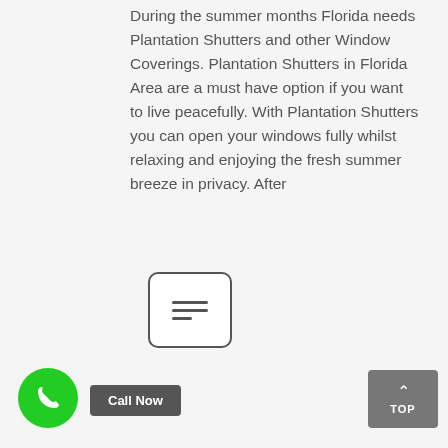During the summer months Florida needs Plantation Shutters and other Window Coverings. Plantation Shutters in Florida Area are a must have option if you want to live peacefully. With Plantation Shutters you can open your windows fully whilst relaxing and enjoying the fresh summer breeze in privacy. After
[Figure (other): A rounded square button with a hamburger/menu icon (three horizontal lines with dots)]
[Figure (other): A green circular phone/call button with a white phone handset icon]
Call Now
[Figure (other): A grey square 'TOP' button with an upward arrow]